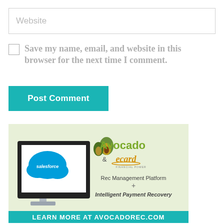Website
Save my name, email, and website in this browser for the next time I comment.
Post Comment
[Figure (illustration): Advertisement banner for Avocado & ecard partnership. Light green background with a computer monitor showing the Salesforce cloud logo. Avocado logo with avocado fruit icon and stylized ecard logo. Text reads: Rec Management Platform + Intelligent Payment Recovery. Bottom teal banner: LEARN MORE AT AVOCADOREC.COM]